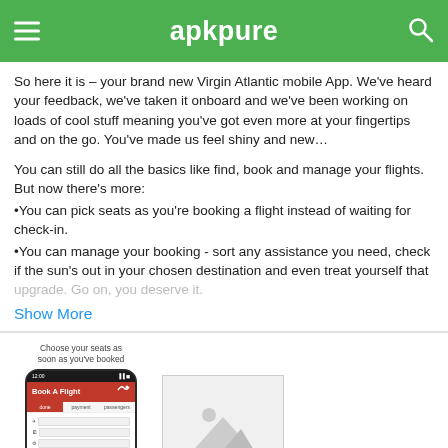apkpure
So here it is – your brand new Virgin Atlantic mobile App. We've heard your feedback, we've taken it onboard and we've been working on loads of cool stuff meaning you've got even more at your fingertips and on the go. You've made us feel shiny and new…
You can still do all the basics like find, book and manage your flights. But now there's more:
•You can pick seats as you're booking a flight instead of waiting for check-in.
•You can manage your booking - sort any assistance you need, check if the sun's out in your chosen destination and even treat yourself that upgrade. Go on, you deserve it.
Show More
[Figure (screenshot): Screenshot of Virgin Atlantic mobile app showing Book A Flight screen with form fields]
[Figure (photo): Placeholder image with mountain/landscape icon]